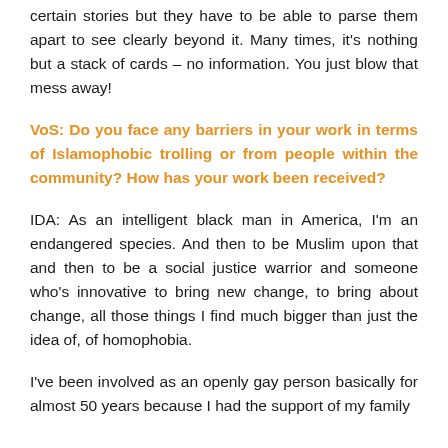certain stories but they have to be able to parse them apart to see clearly beyond it. Many times, it's nothing but a stack of cards – no information. You just blow that mess away!
VoS: Do you face any barriers in your work in terms of Islamophobic trolling or from people within the community? How has your work been received?
IDA: As an intelligent black man in America, I'm an endangered species. And then to be Muslim upon that and then to be a social justice warrior and someone who's innovative to bring new change, to bring about change, all those things I find much bigger than just the idea of, of homophobia.
I've been involved as an openly gay person basically for almost 50 years because I had the support of my family